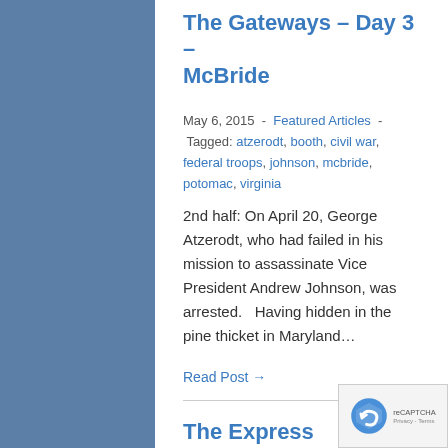The Gateways – Day 3 – McBride
May 6, 2015  -  Featured Articles  -  Tagged: atzerodt, booth, civil war, federal troops, johnson, mcbride, potomac, virginia
2nd half: On April 20, George Atzerodt, who had failed in his mission to assassinate Vice President Andrew Johnson, was arrested.   Having hidden in the pine thicket in Maryland…
Read Post →
The Express Newspaper – May 7, 2015
May 6, 2015  -  The Weekly Paper  -  Tagged: allsaints, alonzo's, articles, badge, ballston spa, barton, basketball, benefil, cancer walk, civil war, civilewar, classifieds, clifton park, contruction, dance, devito, dugan, events, express, express newspaper, featured, fireworks, girl scouts, halfmoon, high school, hoosic